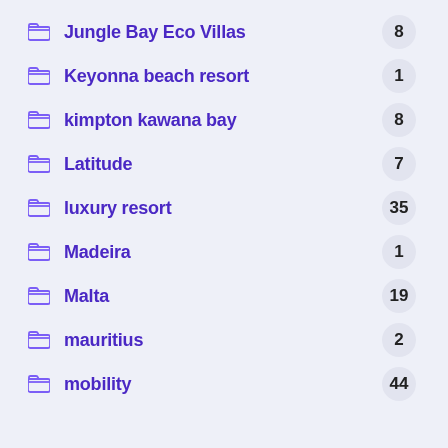Jungle Bay Eco Villas 8
Keyonna beach resort 1
kimpton kawana bay 8
Latitude 7
luxury resort 35
Madeira 1
Malta 19
mauritius 2
mobility 44